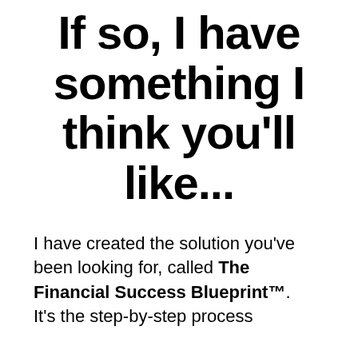If so, I have something I think you'll like...
I have created the solution you've been looking for, called The Financial Success Blueprint™. It's the step-by-step process